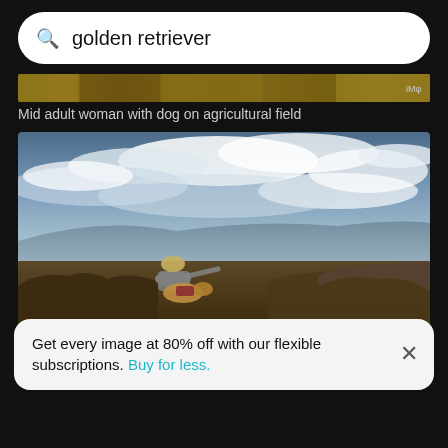golden retriever
[Figure (photo): Thumbnail strip of golden retriever related images]
Mid adult woman with dog on agricultural field
[Figure (photo): Woman sitting with a dog on a rocky mountain summit with dramatic cloudy sky and mountain landscape in background]
Get every image at 80% off with our flexible subscriptions. Buy for less.